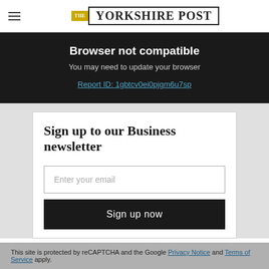THE YORKSHIRE POST
Browser not compatible
You may need to update your browser
Report ID: 1gbtcv0ei0pjgm6u7sp
Sign up to our Business newsletter
Enter your email
Sign up now
This site is protected by reCAPTCHA and the Google Privacy Notice and Terms of Service apply.